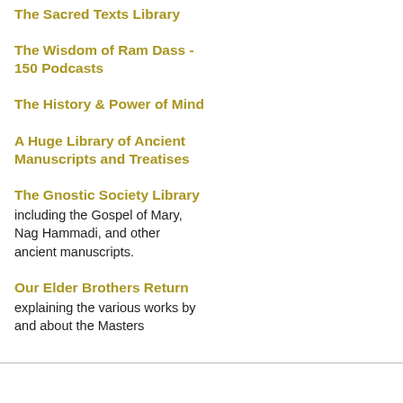The Sacred Texts Library
The Wisdom of Ram Dass - 150 Podcasts
The History & Power of Mind
A Huge Library of Ancient Manuscripts and Treatises
The Gnostic Society Library including the Gospel of Mary, Nag Hammadi, and other ancient manuscripts.
Our Elder Brothers Return explaining the various works by and about the Masters
ent
in
the
Wa
sig
of
Sco

202
bro
us
and
tim
of
mix
ele
infl
inv
Wa
and
Air.
The
Me
reti
of
Fel